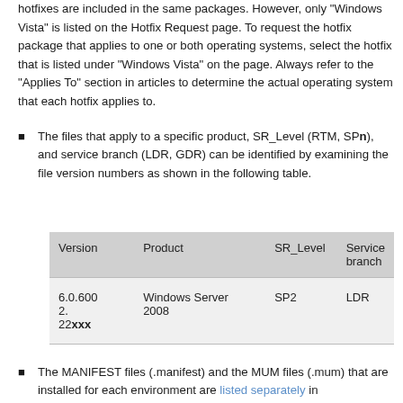hotfixes are included in the same packages. However, only "Windows Vista" is listed on the Hotfix Request page. To request the hotfix package that applies to one or both operating systems, select the hotfix that is listed under "Windows Vista" on the page. Always refer to the "Applies To" section in articles to determine the actual operating system that each hotfix applies to.
The files that apply to a specific product, SR_Level (RTM, SPn), and service branch (LDR, GDR) can be identified by examining the file version numbers as shown in the following table.
| Version | Product | SR_Level | Service branch |
| --- | --- | --- | --- |
| 6.0.6002.22xxx | Windows Server 2008 | SP2 | LDR |
The MANIFEST files (.manifest) and the MUM files (.mum) that are installed for each environment are listed separately in